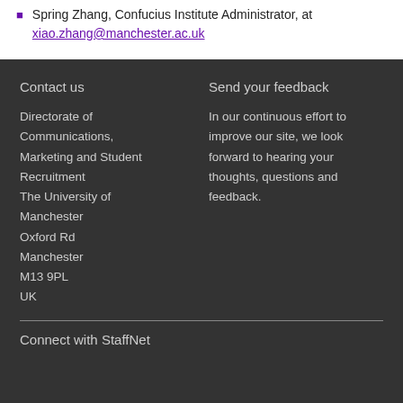Spring Zhang, Confucius Institute Administrator, at xiao.zhang@manchester.ac.uk
Contact us
Directorate of Communications, Marketing and Student Recruitment
The University of Manchester
Oxford Rd
Manchester
M13 9PL
UK
Send your feedback
In our continuous effort to improve our site, we look forward to hearing your thoughts, questions and feedback.
Connect with StaffNet